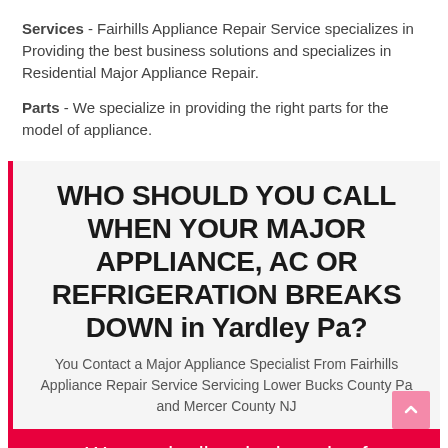Services - Fairhills Appliance Repair Service specializes in Providing the best business solutions and specializes in Residential Major Appliance Repair.
Parts - We specialize in providing the right parts for the model of appliance.
WHO SHOULD YOU CALL WHEN YOUR MAJOR APPLIANCE, AC OR REFRIGERATION BREAKS DOWN in Yardley Pa?
You Contact a Major Appliance Specialist From Fairhills Appliance Repair Service Servicing Lower Bucks County Pa and Mercer County NJ
We repair all major brands of